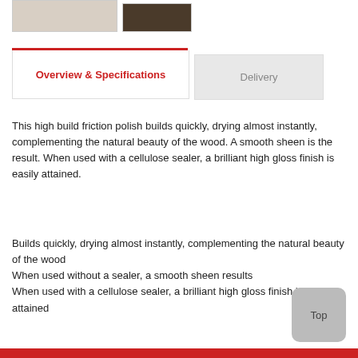[Figure (photo): Two product images at the top: one showing a product on a light background, another showing a product on a dark background]
Overview & Specifications
Delivery
This high build friction polish builds quickly, drying almost instantly, complementing the natural beauty of the wood. A smooth sheen is the result. When used with a cellulose sealer, a brilliant high gloss finish is easily attained.
Builds quickly, drying almost instantly, complementing the natural beauty of the wood
When used without a sealer, a smooth sheen results
When used with a cellulose sealer, a brilliant high gloss finish is easily attained